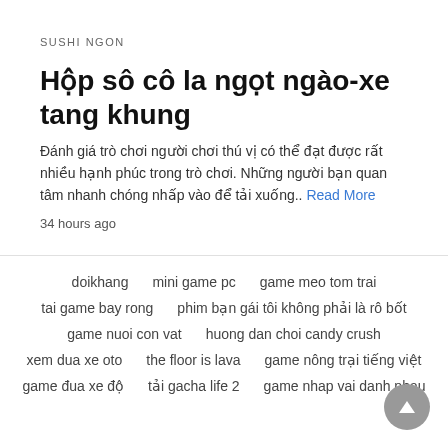SUSHI NGON
Hộp sô cô la ngọt ngào-xe tang khung
Đánh giá trò chơi người chơi thú vị có thể đạt được rất nhiều hạnh phúc trong trò chơi. Những người bạn quan tâm nhanh chóng nhấp vào để tải xuống.. Read More
34 hours ago
doikhang
mini game pc
game meo tom trai
tai game bay rong
phim bạn gái tôi không phải là rô bốt
game nuoi con vat
huong dan choi candy crush
xem dua xe oto
the floor is lava
game nông trại tiếng việt
game đua xe độ
tải gacha life 2
game nhap vai danh nhau